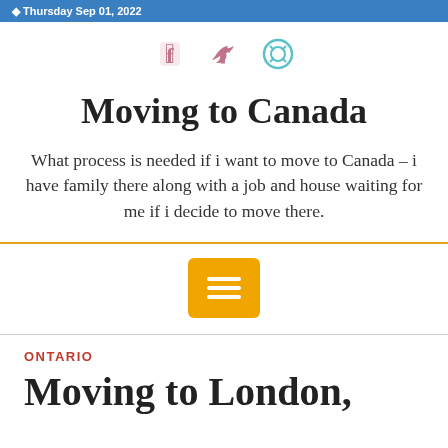Thursday Sep 01, 2022
[Figure (illustration): Social media icons: Facebook, Twitter, Skype in pink/teal color]
Moving to Canada
What process is needed if i want to move to Canada – i have family there along with a job and house waiting for me if i decide to move there.
[Figure (other): Orange menu/hamburger button icon in a rounded square]
ONTARIO
Moving to London,